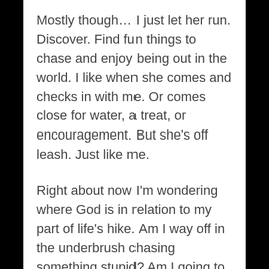Mostly though… I just let her run. Discover. Find fun things to chase and enjoy being out in the world. I like when she comes and checks in with me. Or comes close for water, a treat, or encouragement. But she's off leash. Just like me.
Right about now I'm wondering where God is in relation to my part of life's hike. Am I way off in the underbrush chasing something stupid? Am I going to get in trouble if I continue? Am I right on track and just need him to nod and